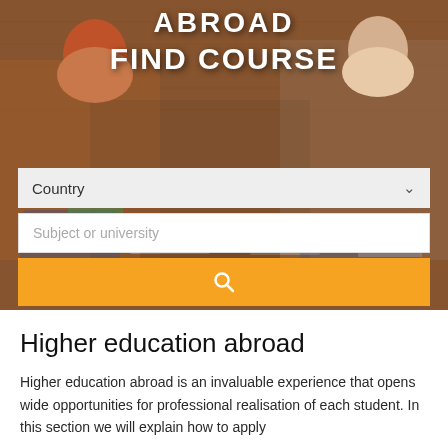[Figure (photo): Hero banner image showing students sitting outdoors against a brick wall, studying together. Overlaid bold white text reading 'ABROAD FIND COURSE'. Below the image are search UI elements: a Country dropdown, a Subject or university text input, and an orange search button with a magnifying glass icon.]
Higher education abroad
Higher education abroad is an invaluable experience that opens wide opportunities for professional realisation of each student. In this section we will explain how to apply